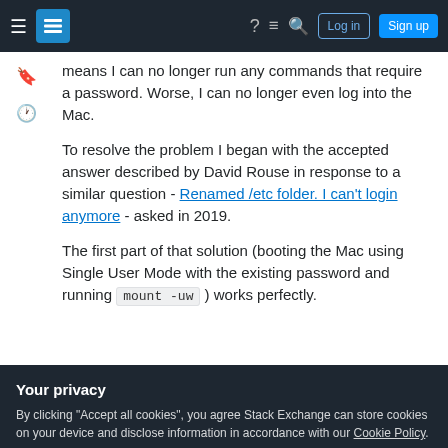Stack Exchange navigation bar with Log in and Sign up buttons
means I can no longer run any commands that require a password. Worse, I can no longer even log into the Mac.
To resolve the problem I began with the accepted answer described by David Rouse in response to a similar question - Renamed /etc folder. I can't login anymore - asked in 2019.
The first part of that solution (booting the Mac using Single User Mode with the existing password and running mount -uw ) works perfectly.
Your privacy
By clicking "Accept all cookies", you agree Stack Exchange can store cookies on your device and disclose information in accordance with our Cookie Policy.
Accept all cookies  Customize settings
appears to be empty - see image below.